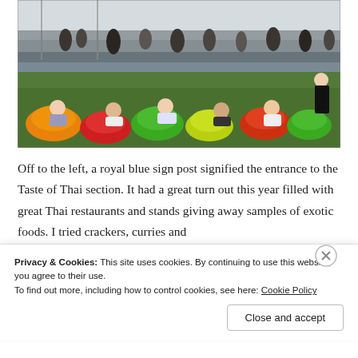[Figure (photo): Outdoor festival scene with people sitting and lounging on colorful bean bags (orange, red, green, yellow) on a grass lawn. A white tent structure is visible in the background with many people standing and socializing.]
Off to the left, a royal blue sign post signified the entrance to the Taste of Thai section. It had a great turn out this year filled with great Thai restaurants and stands giving away samples of exotic foods. I tried crackers, curries and
Privacy & Cookies: This site uses cookies. By continuing to use this website, you agree to their use.
To find out more, including how to control cookies, see here: Cookie Policy
Close and accept